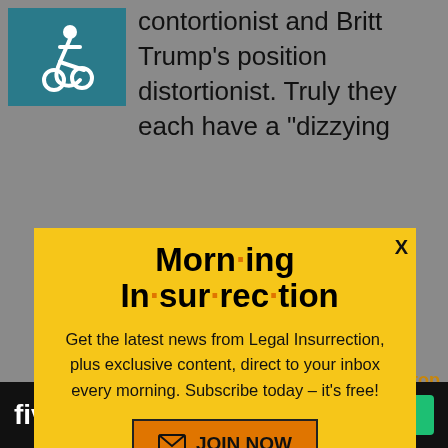[Figure (screenshot): Accessibility wheelchair icon on teal background]
contortionist and Britt Trump’s position distortionist. Truly they each have a “dizzying
[Figure (infographic): Morning Insurrection newsletter signup modal popup on yellow background with orange JOIN NOW button]
Somewhere a village is missing their idio...
[Figure (screenshot): Fiverr advertisement bar with Start Now button]